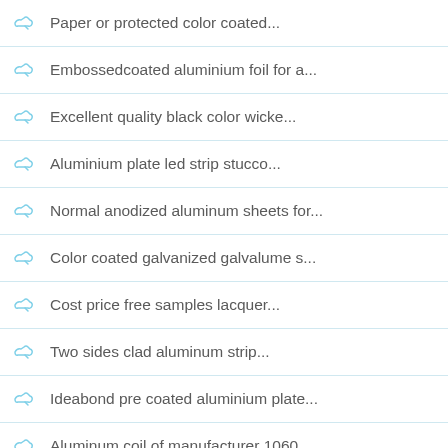Paper or protected color coated...
Embossedcoated aluminium foil for a...
Excellent quality black color wicke...
Aluminium plate led strip stucco...
Normal anodized aluminum sheets for...
Color coated galvanized galvalume s...
Cost price free samples lacquer...
Two sides clad aluminum strip...
Ideabond pre coated aluminium plate...
Aluminum coil of manufacturer 1060...
Door and window application extrude...
Top quality sheet of led...